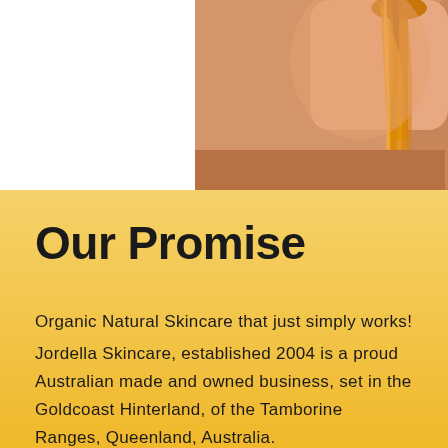[Figure (photo): Close-up photo of a person's face and neck with honey or golden liquid being poured/dripped onto the skin. The background is white on the left side and the image occupies the upper portion of the page.]
Our Promise
Organic Natural Skincare that just simply works! Jordella Skincare, established 2004 is a proud Australian made and owned business, set in the Goldcoast Hinterland, of the Tamborine Ranges, Queenland, Australia. Perfect by nature, Honey is rich in natural vitamins and anti-oxidants, that provides skin benefits second to none. Attracting and